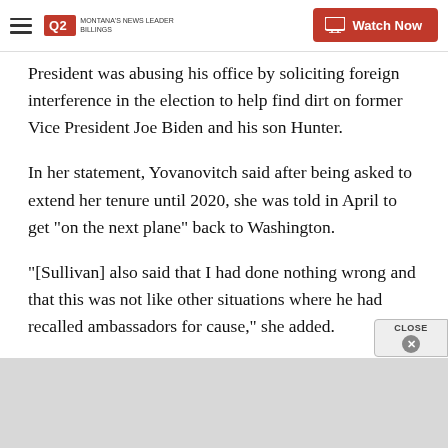Q2 | Montana's News Leader | Watch Now
President was abusing his office by soliciting foreign interference in the election to help find dirt on former Vice President Joe Biden and his son Hunter.
In her statement, Yovanovitch said after being asked to extend her tenure until 2020, she was told in April to get "on the next plane" back to Washington.
[Sullivan] also said that I had done nothing wrong and that this was not like other situations where he had recalled ambassadors for cause," she added.
Friday, Trump announced his intention to nominate